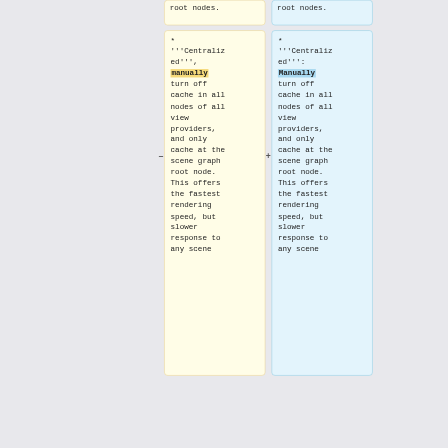root nodes.
root nodes.
* '''Centralized''', manually turn off cache in all nodes of all view providers, and only cache at the scene graph root node. This offers the fastest rendering speed, but slower response to any scene
* '''Centralized''': Manually turn off cache in all nodes of all view providers, and only cache at the scene graph root node. This offers the fastest rendering speed, but slower response to any scene